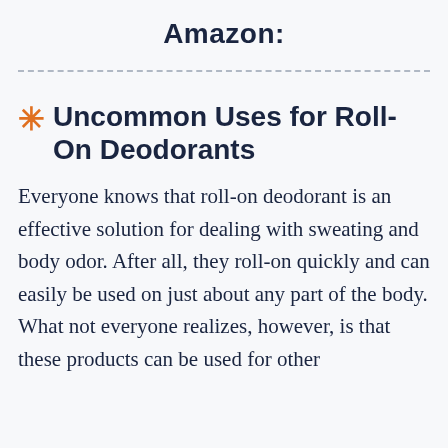Amazon:
* Uncommon Uses for Roll-On Deodorants
Everyone knows that roll-on deodorant is an effective solution for dealing with sweating and body odor. After all, they roll-on quickly and can easily be used on just about any part of the body. What not everyone realizes, however, is that these products can be used for other